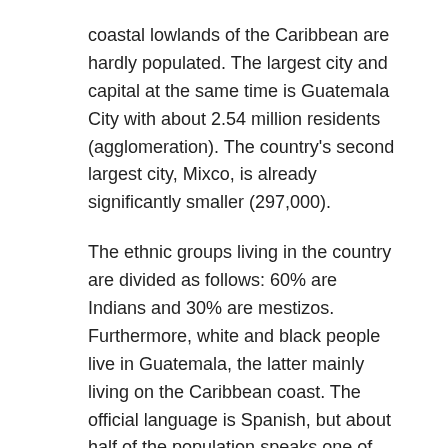coastal lowlands of the Caribbean are hardly populated. The largest city and capital at the same time is Guatemala City with about 2.54 million residents (agglomeration). The country's second largest city, Mixco, is already significantly smaller (297,000).
The ethnic groups living in the country are divided as follows: 60% are Indians and 30% are mestizos. Furthermore, white and black people live in Guatemala, the latter mainly living on the Caribbean coast. The official language is Spanish, but about half of the population speaks one of the 20 Maya languages; many are bilingual. The largest Indian groups are the Mam in the west of the country, the Quich¨¦ in the north and west of Lago de Atitl¨¢n and the Cakchiquel in the region between Lago de Atitl¨¢n and Guatemala City.
The Roman Catholic religion is the dominant faith in Guatemala. In the case of the Indians, however, it is